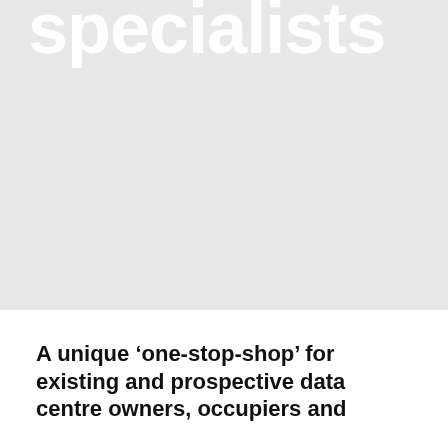[Figure (photo): Light grey background image area with a large bold white partial word 'specialists' visible at the top, cropped at the top of the page]
A unique ‘one-stop-shop’ for existing and prospective data centre owners, occupiers and